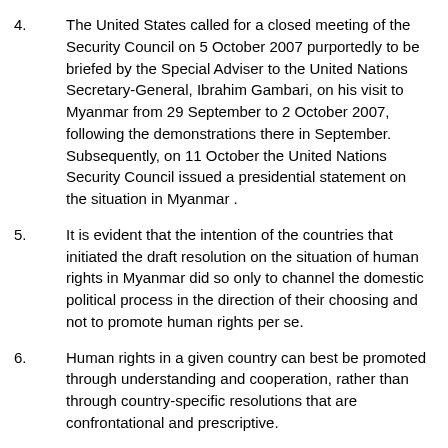4.      The United States called for a closed meeting of the Security Council on 5 October 2007 purportedly to be briefed by the Special Adviser to the United Nations Secretary-General, Ibrahim Gambari, on his visit to Myanmar from 29 September to 2 October 2007, following the demonstrations there in September. Subsequently, on 11 October the United Nations Security Council issued a presidential statement on the situation in Myanmar .
5.      It is evident that the intention of the countries that initiated the draft resolution on the situation of human rights in Myanmar did so only to channel the domestic political process in the direction of their choosing and not to promote human rights per se.
6.      Human rights in a given country can best be promoted through understanding and cooperation, rather than through country-specific resolutions that are confrontational and prescriptive.
7.      This memorandum is being circulated to provide factual information on the situation in Myanmar , particularly with regard to the progress made in promoting peace and stability and the transition to democracy.